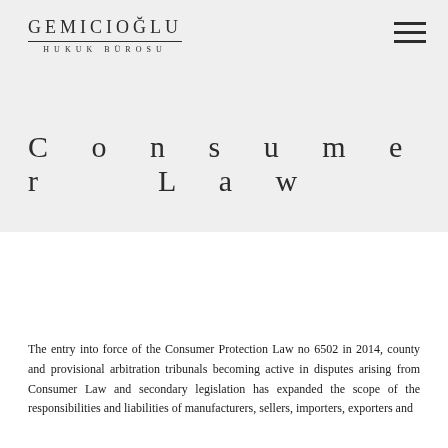GEMİCİOĞLU HUKUK BÜROSU
Consumer Law
The entry into force of the Consumer Protection Law no 6502 in 2014, county and provisional arbitration tribunals becoming active in disputes arising from Consumer Law and secondary legislation has expanded the scope of the responsibilities and liabilities of manufacturers, sellers, importers, exporters and